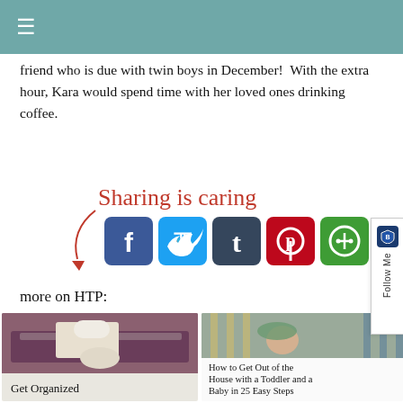≡
friend who is due with twin boys in December!  With the extra hour, Kara would spend time with her loved ones drinking coffee.
[Figure (infographic): Sharing is caring label with arrow and social media icons: Facebook, Twitter, Tumblr, Pinterest, and a green app icon]
more on HTP:
[Figure (photo): Get Organized - thumbnail image of baby items on a bed with overlay caption]
[Figure (photo): How to Get Out of the House with a Toddler and a Baby in 25 Easy Steps - thumbnail image of baby in crib]